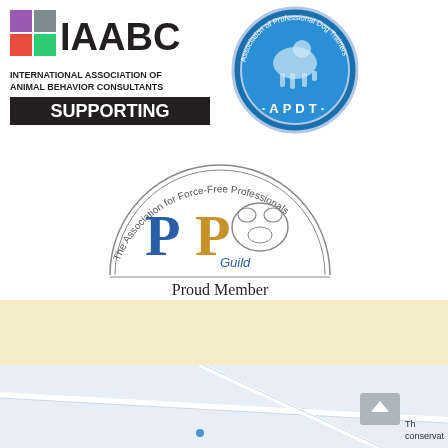[Figure (logo): IAABC International Association of Animal Behavior Consultants - Supporting logo with colorful squares]
[Figure (logo): APDT Association of Professional Dog Trainers circular blue badge logo]
[Figure (logo): PPGuild - The Association for Force-Free Professionals - Proud Member logo with dog illustration]
[Figure (screenshot): Partial map screenshot showing roads and terrain, with a grey scroll-up button and partial text 'The conservat']